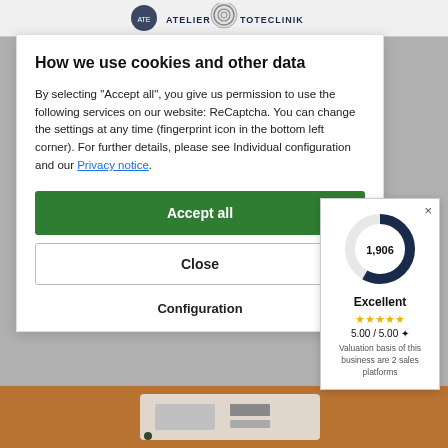ATELIER TOTECLINIK
How we use cookies and other data
By selecting "Accept all", you give us permission to use the following services on our website: ReCaptcha. You can change the settings at any time (fingerprint icon in the bottom left corner). For further details, please see Individual configuration and our Privacy notice.
Accept all
Close
Configuration
[Figure (donut-chart): Donut chart showing rating score 1,906 in dark navy blue, partially filled]
Excellent
5.00 / 5.00 ✦
Valuation basis of this business are 2 sales platforms
[Figure (photo): Photo of an electronic component or circuit board on a brown surface]